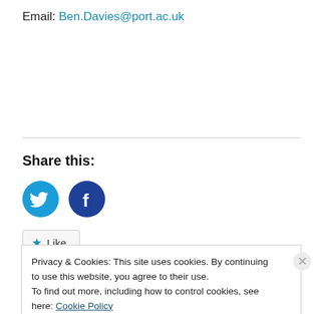Email: Ben.Davies@port.ac.uk
Share this:
[Figure (illustration): Twitter and Facebook circular share buttons (Twitter: light blue circle with bird icon; Facebook: dark blue circle with 'f' icon)]
★ Like
Privacy & Cookies: This site uses cookies. By continuing to use this website, you agree to their use.
To find out more, including how to control cookies, see here: Cookie Policy
Close and accept